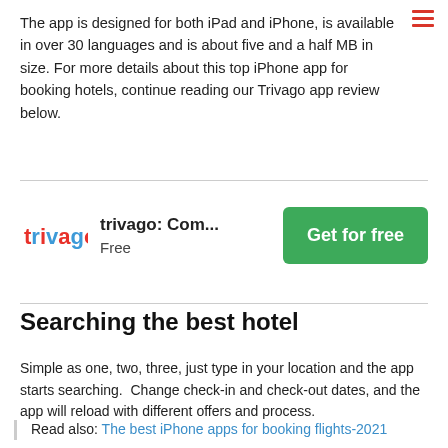The app is designed for both iPad and iPhone, is available in over 30 languages and is about five and a half MB in size. For more details about this top iPhone app for booking hotels, continue reading our Trivago app review below.
[Figure (logo): Trivago app promotional block with logo, name 'trivago: Com... Free' and green 'Get for free' button]
Searching the best hotel
Simple as one, two, three, just type in your location and the app starts searching.  Change check-in and check-out dates, and the app will reload with different offers and process.
Read also: The best iPhone apps for booking flights-2021